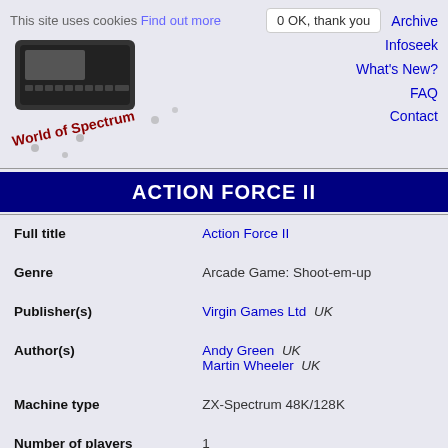This site uses cookies Find out more | 0 OK, thank you | Archive | Infoseek | What's New? | FAQ | Contact
[Figure (logo): World of Spectrum logo with ZX Spectrum keyboard image and stylized text]
ACTION FORCE II
| Field | Value |
| --- | --- |
| Full title | Action Force II |
| Genre | Arcade Game: Shoot-em-up |
| Publisher(s) | Virgin Games Ltd  UK |
| Author(s) | Andy Green  UK
Martin Wheeler  UK |
| Machine type | ZX-Spectrum 48K/128K |
| Number of players | 1 |
| Controls | Cursor
Interface 2 (right) |